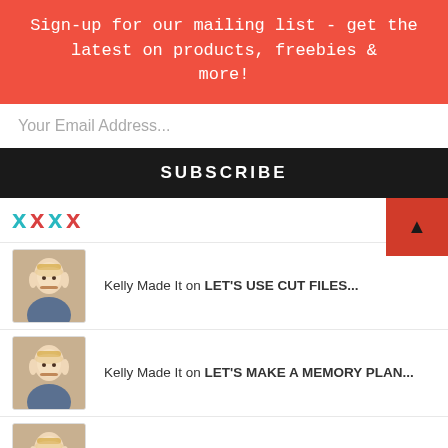Sign-up for our mailing list - get the latest on products, freebies & more!
Your Email Address...
SUBSCRIBE
Kelly Made It on LET'S USE CUT FILES...
Kelly Made It on LET'S MAKE A MEMORY PLAN...
Kelly Made It on LET'S GET MESSY WITH MIX...
- FACEBOOK -